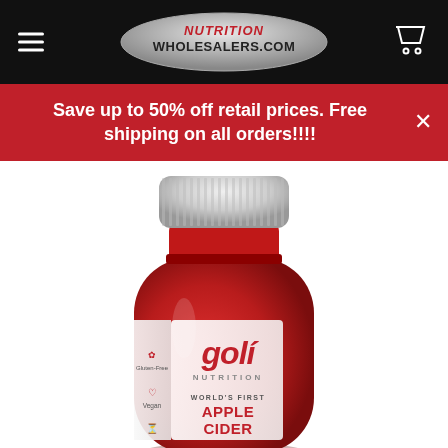NUTRITIONWHOLESALERS.COM
Save up to 50% off retail prices. Free shipping on all orders!!!!
[Figure (photo): Red Goli Nutrition Apple Cider Vinegar gummy supplement bottle with white ribbed cap, showing 'goli NUTRITION WORLD'S FIRST APPLE CIDER' label with Gluten-Free and Vegan icons on side panel]